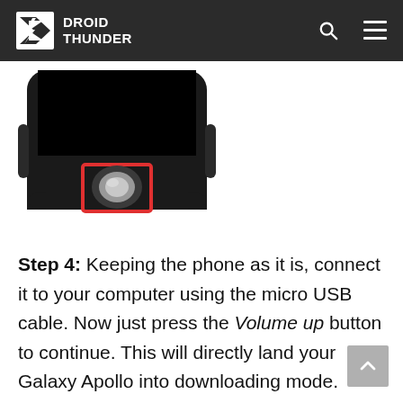DROID THUNDER
[Figure (photo): Bottom portion of a Samsung Galaxy Apollo smartphone with a red rectangle highlighting the home button, displayed on a white background.]
Step 4: Keeping the phone as it is, connect it to your computer using the micro USB cable. Now just press the Volume up button to continue. This will directly land your Galaxy Apollo into downloading mode. Refer to the screenshot.